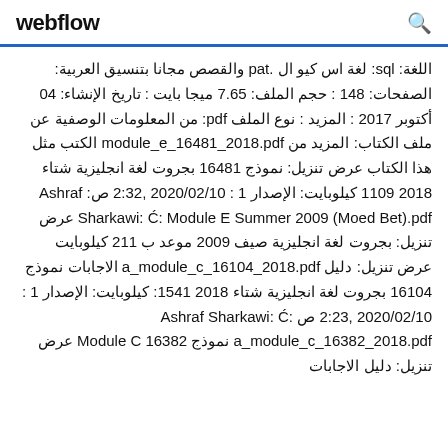webflow
اللغة: sql: لغة اس كيو ال .pat والقصص مجانا بتنسيق العربية: الصفحات: 148 : حجم الملف: 7.65 ميجا بايت : تاريخ الإنشاء: 04 أكتوبر 2017 : المزيد : نوع الملف pdf: من المعلومات الوصفية عن ملف الكتاب: المزيد من module_e_16481_2018.pdf الكتب مثل هذا الكتاب عرض تنزيل: نموذج 16481 بجروت لغة انجليزية شتاء 2018 1109 كيلوبايت: الإصدار 1 : 2020/02/10 ,2:32 ص: Ashraf Sharkawi: Ć: Module E Summer 2009 (Moed Bet).pdf عرض تنزيل: بجروت لغة انجليزية صيف 2009 موعد ب 211 كيلوبايت عرض تنزيل: دليل a_module_c_16104_2018.pdf الاجابات نموذج 16104 بجروت لغة انجليزية شتاء 2018 1541: كيلوبايت: الإصدار 1 : 2020/02/10 ,2:23 ص Ashraf Sharkawi: Ć: a_module_c_16382_2018.pdf نموذج Module C 16382 عرض تنزيل: دليل الاجابات